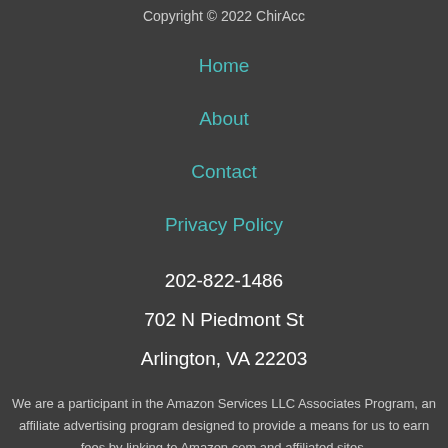Copyright © 2022 ChirAcc
Home
About
Contact
Privacy Policy
202-822-1486
702 N Piedmont St
Arlington, VA 22203
We are a participant in the Amazon Services LLC Associates Program, an affiliate advertising program designed to provide a means for us to earn fees by linking to Amazon.com and affiliated sites.